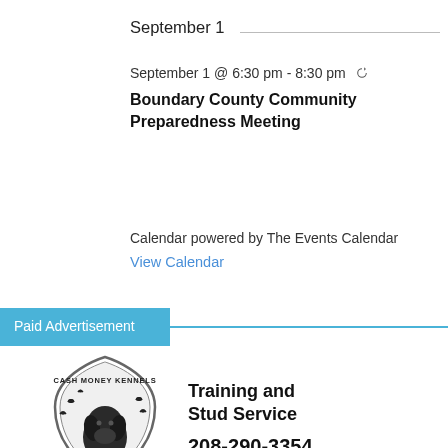September 1
September 1 @ 6:30 pm - 8:30 pm ↺
Boundary County Community Preparedness Meeting
Calendar powered by The Events Calendar
View Calendar
Paid Advertisement
[Figure (logo): Cash Money Kennels shield logo with Labrador Retriever and birds]
Training and Stud Service
208-290-3354
Quality Breeders Of Labrador Retrievers